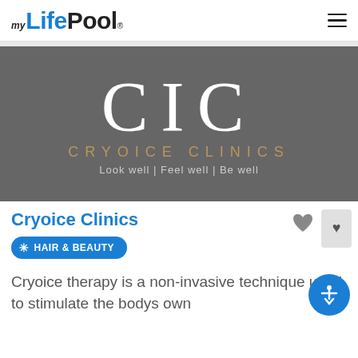myLifePool
[Figure (logo): CIC Cryoice Clinics logo on grey background with text 'CIC', 'CRYOICE CLINICS', 'Look well | Feel well | Be well']
Cryoice Clinics
HAIR & BEAUTY
Cryoice therapy is a non-invasive technique used to stimulate the bodys own